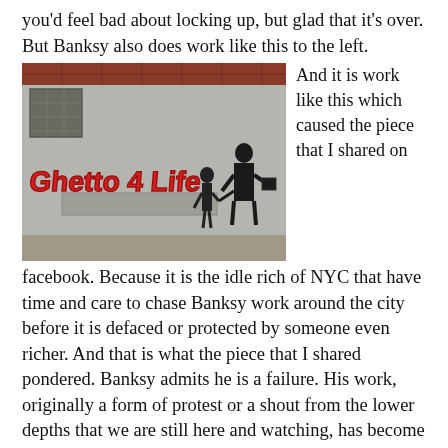you'd feel bad about locking up, but glad that it's over. But Banksy also does work like this to the left.
[Figure (photo): Street art by Banksy on a gray brick wall: red graffiti lettering reading 'Ghetto 4 Life' alongside a stenciled image of a small child shaking hands with a suited man holding a briefcase.]
And it is work like this which caused the piece that I shared on facebook. Because it is the idle rich of NYC that have time and care to chase Banksy work around the city before it is defaced or protected by someone even richer. And that is what the piece that I shared pondered. Banksy admits he is a failure. His work, originally a form of protest or a shout from the lower depths that we are still here and watching, has become popular. Rich people buy the buildings he's painted on and hire 24 hr security until they can